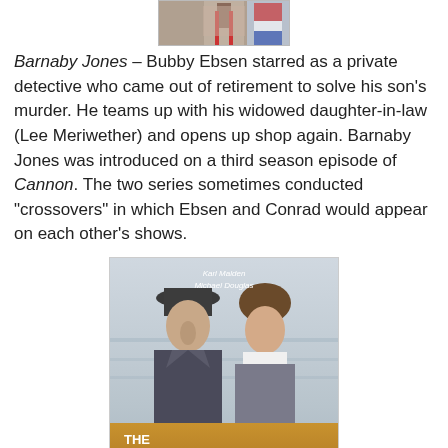[Figure (photo): Partial image of a person at the top of the page, cropped]
Barnaby Jones – Bubby Ebsen starred as a private detective who came out of retirement to solve his son's murder. He teams up with his widowed daughter-in-law (Lee Meriwether) and opens up shop again. Barnaby Jones was introduced on a third season episode of Cannon. The two series sometimes conducted “crossovers” in which Ebsen and Conrad would appear on each other’s shows.
[Figure (photo): DVD cover of The Streets of San Francisco, Season 1 Volume 1, showing Karl Malden and Michael Douglas]
The Streets of San Francisco – Shot on location, this police detective drama starred Karl Malden as veteran Lieutenant Mike Stone and Michael Douglas as his much younger, inexperienced partner Steve Keller. When Douglas left after four years, Richard Hatch joined the show as Malden’s new